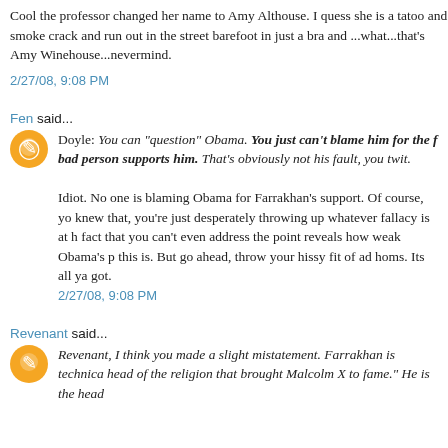Cool the professor changed her name to Amy Althouse. I quess she is a tatoo and smoke crack and run out in the street barefoot in just a bra and ...what...that's Amy Winehouse...nevermind.
2/27/08, 9:08 PM
Fen said...
Doyle: You can "question" Obama. You just can't blame him for the fact that a bad person supports him. That's obviously not his fault, you twit.
Idiot. No one is blaming Obama for Farrakhan's support. Of course, you knew that, you're just desperately throwing up whatever fallacy is at h... fact that you can't even address the point reveals how weak Obama's p... this is. But go ahead, throw your hissy fit of ad homs. Its all ya got.
2/27/08, 9:08 PM
Revenant said...
Revenant, I think you made a slight mistatement. Farrakhan is technica... head of the religion that brought Malcolm X to fame." He is the head...